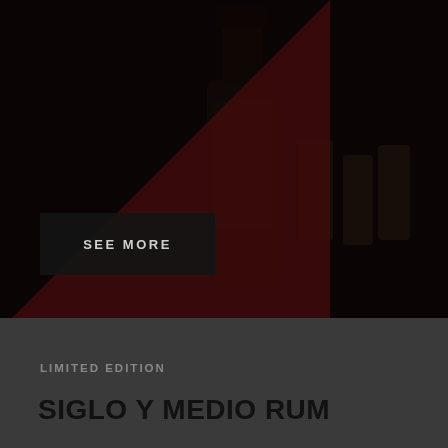[Figure (photo): Dark moody product photo of Siglo Y Medio Rum bottle with glasses, dark background with deep red/maroon triangular overlay in lower left, 'SEE MORE' button overlaid]
SEE MORE
LIMITED EDITION
SIGLO Y MEDIO RUM